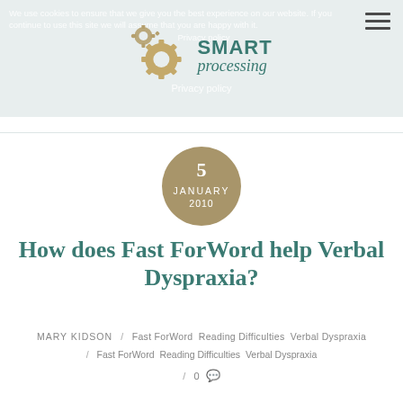We use cookies to ensure that we give you the best experience on our website. If you continue to use this site we will assume that you are happy with it. Privacy policy
[Figure (logo): Smart Processing logo with gear icons and text]
[Figure (infographic): Date badge circle showing 5 JANUARY 2010]
How does Fast ForWord help Verbal Dyspraxia?
MARY KIDSON / Fast ForWord Reading Difficulties Verbal Dyspraxia / Fast ForWord Reading Difficulties Verbal Dyspraxia / 0